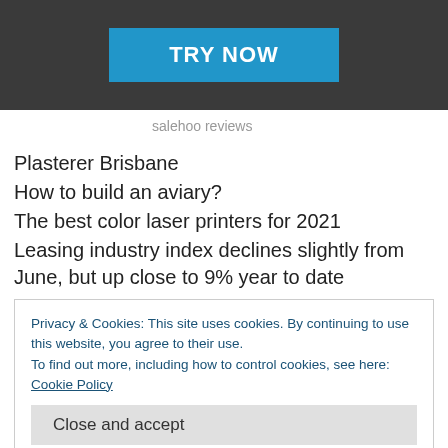[Figure (screenshot): Advertisement banner with dark background showing a blue 'TRY NOW' button]
salehoo reviews
Plasterer Brisbane
How to build an aviary?
The best color laser printers for 2021
Leasing industry index declines slightly from June, but up close to 9% year to date
Privacy & Cookies: This site uses cookies. By continuing to use this website, you agree to their use.
To find out more, including how to control cookies, see here: Cookie Policy
Close and accept
Signs Our Body Is Fighting Infection?